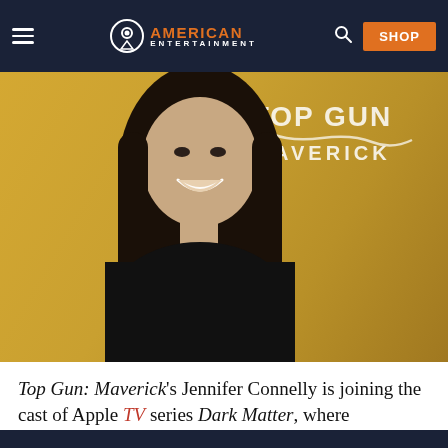American Entertainment — Navigation bar with hamburger menu, logo, search, and SHOP button
[Figure (photo): Jennifer Connelly smiling at a Top Gun: Maverick event, wearing a black leather outfit, standing in front of a gold backdrop with the Top Gun: Maverick logo]
Top Gun: Maverick's Jennifer Connelly is joining the cast of Apple TV series Dark Matter, where